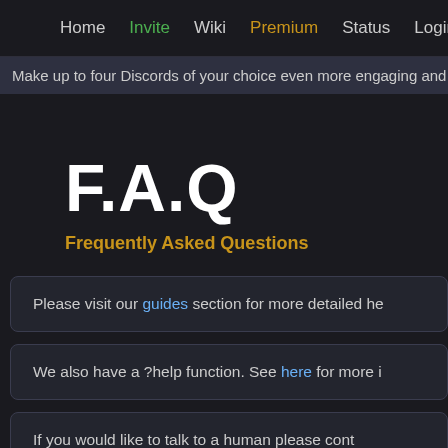Home  Invite  Wiki  Premium  Status  Login
Make up to four Discords of your choice even more engaging and fun by
F.A.Q
Frequently Asked Questions
Please visit our guides section for more detailed he
We also have a ?help function. See here for more i
If you would like to talk to a human please cont